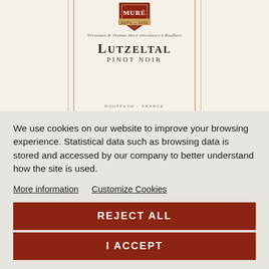[Figure (illustration): Wine bottle label for Lutzeltal Pinot Noir by Mure winery. Shows the Mure shield logo at top with 'DEPUIS 1650', italic script text 'Véronique & Thomas Muré viticulteurs à Rouffach', bold serif text 'LUTZELTAL' and 'PINOT NOIR', decorative geometric border lines, and 'ROUFFACH – FRANCE' at the bottom. Cream/beige background.]
We use cookies on our website to improve your browsing experience. Statistical data such as browsing data is stored and accessed by our company to better understand how the site is used.
More information   Customize Cookies
REJECT ALL
I ACCEPT